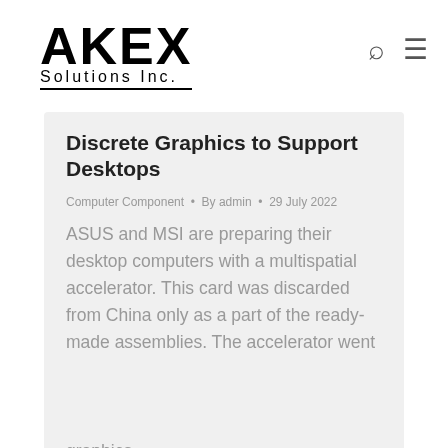AKEX Solutions Inc.
Discrete Graphics to Support Desktops
Computer Component · By admin · 29 July 2022
ASUS and MSI are preparing their desktop computers with a multispatial accelerator. This card was discarded from China only as a part of the ready-made assemblies. The accelerator went to retail, but again, not in China, but only in the local factory Gunnir. It seems that the size of the sales of new Intel graphics…